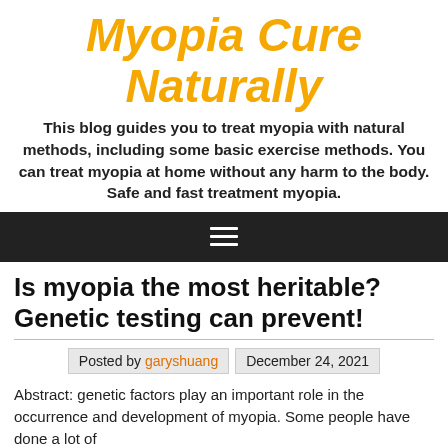Myopia Cure Naturally
This blog guides you to treat myopia with natural methods, including some basic exercise methods. You can treat myopia at home without any harm to the body. Safe and fast treatment myopia.
Is myopia the most heritable? Genetic testing can prevent!
Posted by garyshuang   December 24, 2021
Abstract: genetic factors play an important role in the occurrence and development of myopia. Some people have done a lot of